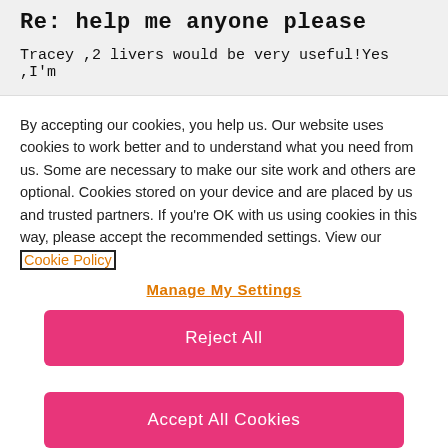Re: help me anyone please
Tracey ,2 livers would be very useful!Yes ,I'm
By accepting our cookies, you help us. Our website uses cookies to work better and to understand what you need from us. Some are necessary to make our site work and others are optional. Cookies stored on your device and are placed by us and trusted partners. If you're OK with us using cookies in this way, please accept the recommended settings. View our Cookie Policy
Manage My Settings
Reject All
Accept All Cookies